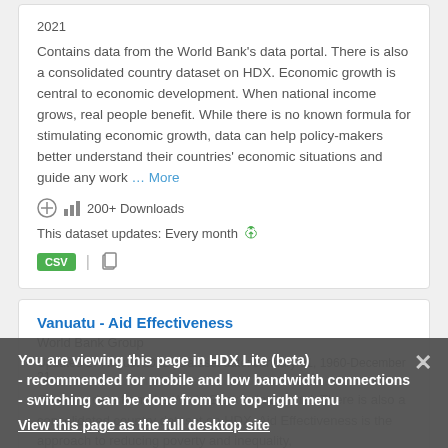2021
Contains data from the World Bank's data portal. There is also a consolidated country dataset on HDX. Economic growth is central to economic development. When national income grows, real people benefit. While there is no known formula for stimulating economic growth, data can help policy-makers better understand their countries' economic situations and guide any work … More
200+ Downloads
This dataset updates: Every month
CSV
Vanuatu - Aid Effectiveness
World Bank Group
Updated 27 August 2022 | Dataset date: January 01, 1960-December 31,
Contains data from the World Bank's data portal. There is also a consolidated country dataset on HDX. Aid Effectiveness is the approach to reducing poverty and inequality, increasing growth, building capacity, and accelerating
You are viewing this page in HDX Lite (beta)
- recommended for mobile and low bandwidth connections
- switching can be done from the top-right menu
View this page as the full desktop site